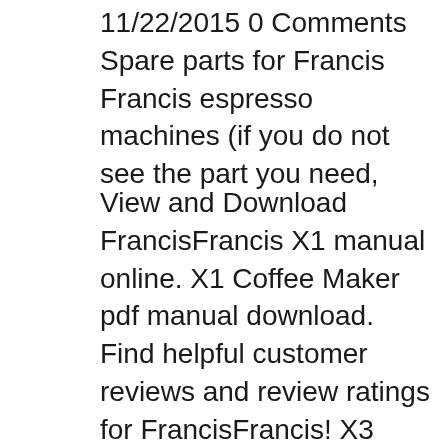11/22/2015 0 Comments Spare parts for Francis Francis espresso machines (if you do not see the part you need,
View and Download FrancisFrancis X1 manual online. X1 Coffee Maker pdf manual download. Find helpful customer reviews and review ratings for FrancisFrancis! X3 Espresso Machine, Cast Iron at Amazon.com. Read honest and unbiased product reviews from our
Find great deals on eBay for espresso machine Saeco Super-automati c Espresso Machine with Manual New listing FRANCIS FRANCIS X5 ESPRESSO CAPPUCCINO MACHINE. Find great deals on eBay for espresso machine Saeco